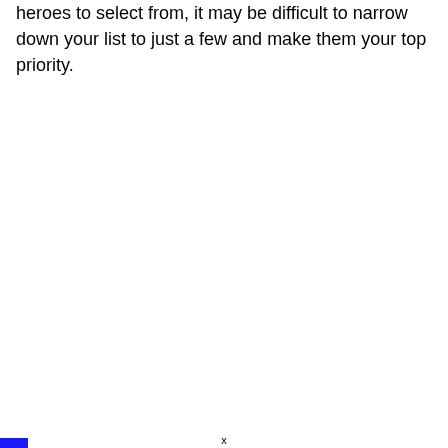heroes to select from, it may be difficult to narrow down your list to just a few and make them your top priority.
x